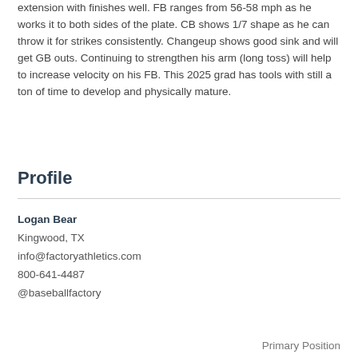extension with finishes well. FB ranges from 56-58 mph as he works it to both sides of the plate. CB shows 1/7 shape as he can throw it for strikes consistently. Changeup shows good sink and will get GB outs. Continuing to strengthen his arm (long toss) will help to increase velocity on his FB. This 2025 grad has tools with still a ton of time to develop and physically mature.
Profile
Logan Bear
Kingwood, TX
info@factoryathletics.com
800-641-4487
@baseballfactory
Primary Position